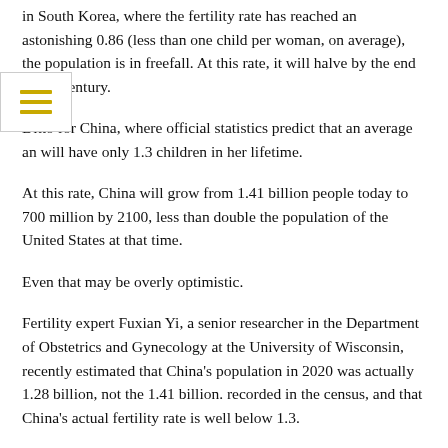in South Korea, where the fertility rate has reached an astonishing 0.86 (less than one child per woman, on average), the population is in freefall. At this rate, it will halve by the end of the century.
Ditto for China, where official statistics predict that an average an will have only 1.3 children in her lifetime.
At this rate, China will grow from 1.41 billion people today to 700 million by 2100, less than double the population of the United States at that time.
Even that may be overly optimistic.
Fertility expert Fuxian Yi, a senior researcher in the Department of Obstetrics and Gynecology at the University of Wisconsin, recently estimated that China's population in 2020 was actually 1.28 billion, not the 1.41 billion. recorded in the census, and that China's actual fertility rate is well below 1.3.